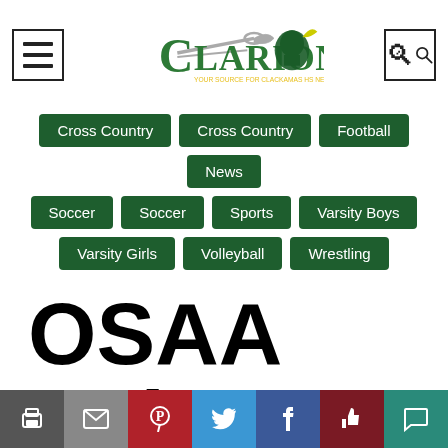Clarion — Your source for Clackamas news
Cross Country
Cross Country
Football
News
Soccer
Soccer
Sports
Varsity Boys
Varsity Girls
Volleyball
Wrestling
OSAA Releases